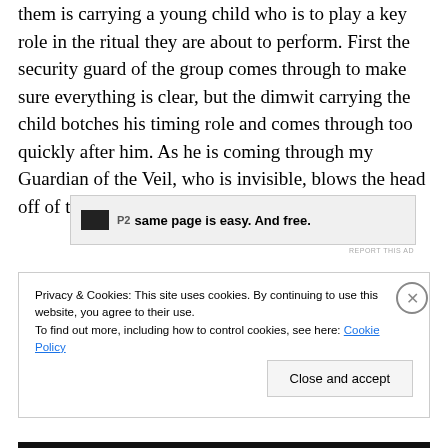them is carrying a young child who is to play a key role in the ritual they are about to perform. First the security guard of the group comes through to make sure everything is clear, but the dimwit carrying the child botches his timing role and comes through too quickly after him. As he is coming through my Guardian of the Veil, who is invisible, blows the head off of the first Mage through the portal.
[Figure (other): Advertisement banner with logo icon and text 'same page is easy. And free.']
REPORT THIS AD
Privacy & Cookies: This site uses cookies. By continuing to use this website, you agree to their use.
To find out more, including how to control cookies, see here: Cookie Policy